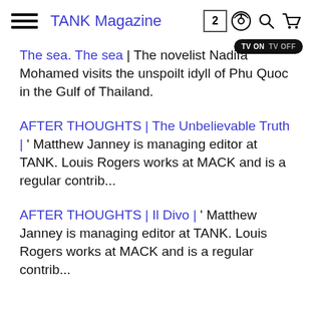TANK Magazine
The sea. The sea | The novelist Nadifa Mohamed visits the unspoilt idyll of Phu Quoc in the Gulf of Thailand.
AFTER THOUGHTS | The Unbelievable Truth | ' Matthew Janney is managing editor at TANK. Louis Rogers works at MACK and is a regular contrib...
AFTER THOUGHTS | Il Divo | ' Matthew Janney is managing editor at TANK. Louis Rogers works at MACK and is a regular contrib...